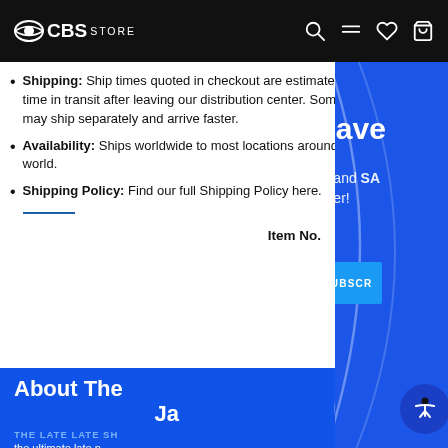CBS STORE
Shipping: Ship times quoted in checkout are estimates of time in transit after leaving our distribution center. Some items may ship separately and arrive faster.
Availability: Ships worldwide to most locations around the world.
Shipping Policy: Find our full Shipping Policy here.
Item No.
About The Late Late Show with James Corden
THE LATE LATE SHOW
the ultimate late night...
[Figure (screenshot): Sign Up & Save popup modal overlay on blue background with email subscription form. Title: Sign Up & Save. Subtitle: Sign up for our newsletter and SAVE 15% on your next order! Email input field and SUBSCRIBE button.]